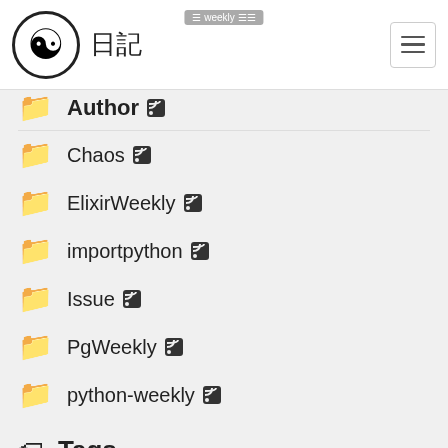weekly 日記
Author
Chaos
ElixirWeekly
importpython
Issue
PgWeekly
python-weekly
Tags